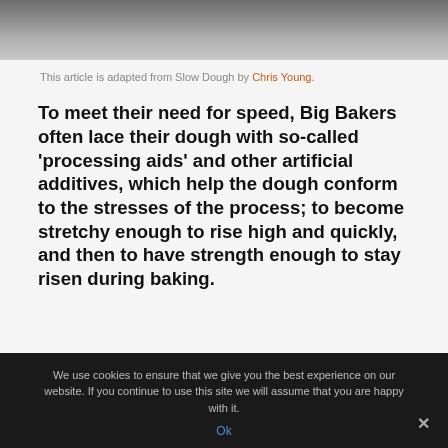[Figure (photo): Partial photo of what appears to be bread or dough, shown in grayscale tones at the top of the page]
This article is adapted from Slow Dough by Chris Young.
To meet their need for speed, Big Bakers often lace their dough with so-called 'processing aids' and other artificial additives, which help the dough conform to the stresses of the process; to become stretchy enough to rise high and quickly, and then to have strength enough to stay risen during baking.
We use cookies to ensure that we give you the best experience on our website. If you continue to use this site we will assume that you are happy with it.
Ok